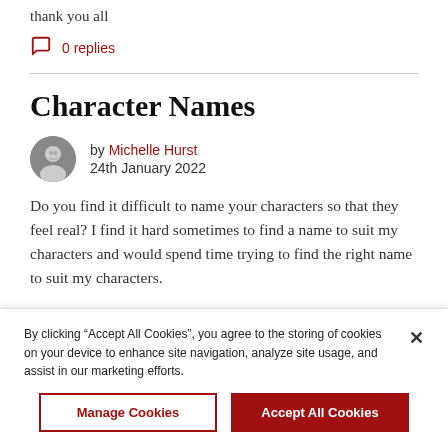thank you all
0 replies
Character Names
by Michelle Hurst
24th January 2022
Do you find it difficult to name your characters so that they feel real? I find it hard sometimes to find a name to suit my characters and would spend time trying to find the right name to suit my characters.
By clicking “Accept All Cookies”, you agree to the storing of cookies on your device to enhance site navigation, analyze site usage, and assist in our marketing efforts.
Manage Cookies
Accept All Cookies